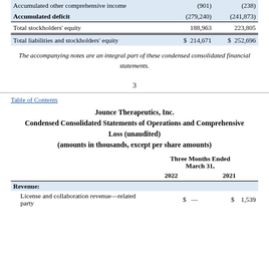|  |  |  |
| --- | --- | --- |
| Accumulated other comprehensive income | (901) | (238) |
| Accumulated deficit | (279,240) | (241,873) |
| Total stockholders' equity | 188,963 | 223,805 |
| Total liabilities and stockholders' equity | $ 214,671 | $ 252,696 |
The accompanying notes are an integral part of these condensed consolidated financial statements.
3
Table of Contents
Jounce Therapeutics, Inc.
Condensed Consolidated Statements of Operations and Comprehensive Loss (unaudited)
(amounts in thousands, except per share amounts)
|  | Three Months Ended March 31, |  |
| --- | --- | --- |
|  | 2022 | 2021 |
| Revenue: |  |  |
| License and collaboration revenue—related party | $ — | $ 1,539 |